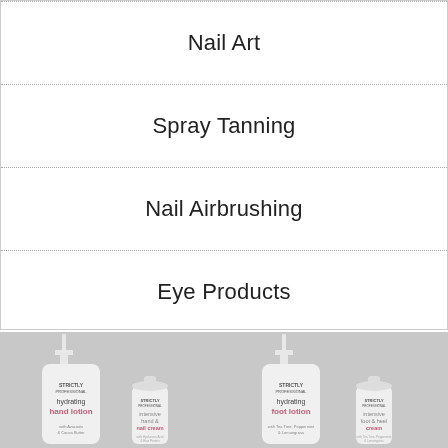Nail Art
Spray Tanning
Nail Airbrushing
Eye Products
[Figure (photo): Four Strictly Professional skincare products: hydrating hand lotion bottle, intensive hand & nail cream tube, hydrating foot lotion bottle, intensive foot & heel cream tube, on grey background]